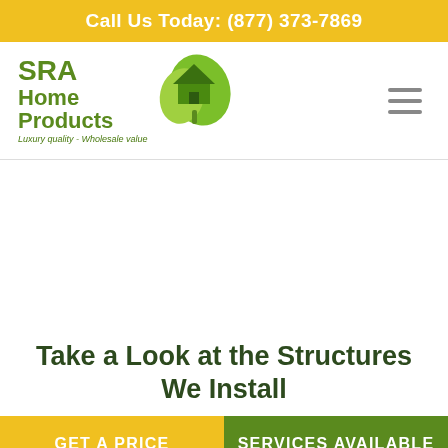Call Us Today: (877) 373-7869
[Figure (logo): SRA Home Products logo with green leaf/house icon and tagline 'Luxury quality - Wholesale value']
Take a Look at the Structures We Install
GET A PRICE
SERVICES AVAILABLE